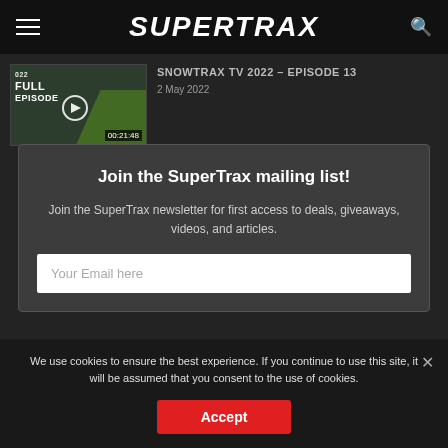SUPERTRAX
SNOWTRAX TV 2022 – Episode 13
2 May 2022
00:21:48
Join the SuperTrax mailing list!
Join the SuperTrax newsletter for first access to deals, giveaways, videos, and articles.
Your Email here
We use cookies to ensure the best experience. If you continue to use this site, it will be assumed that you consent to the use of cookies.
Accept